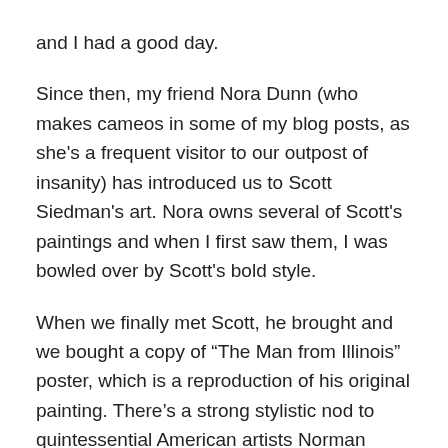and I had a good day.
Since then, my friend Nora Dunn (who makes cameos in some of my blog posts, as she's a frequent visitor to our outpost of insanity) has introduced us to Scott Siedman's art. Nora owns several of Scott's paintings and when I first saw them, I was bowled over by Scott's bold style.
When we finally met Scott, he brought and we bought a copy of “The Man from Illinois” poster, which is a reproduction of his original painting. There’s a strong stylistic nod to quintessential American artists Norman Rockwell and Thomas Hart Benton. When I asked Scott what book Obama is reading, he said he left that open to interpretation. Scott noted though that Abraham Lincoln, also an attorney (and the original Man from Illinois), was often seen reading the English Book of Common Law.